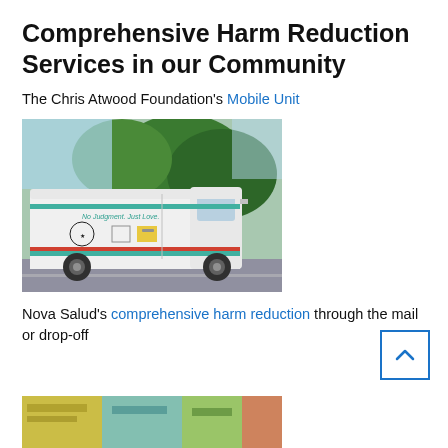Comprehensive Harm Reduction Services in our Community
The Chris Atwood Foundation's Mobile Unit
[Figure (photo): White van with teal/red stripe and 'No Judgment. Just Love.' text, parked in a parking lot with trees in background. Logo of Chris Atwood Foundation on the side.]
Nova Salud's comprehensive harm reduction through the mail or drop-off
[Figure (photo): Partial image of harm reduction supply packages/boxes at bottom of page]